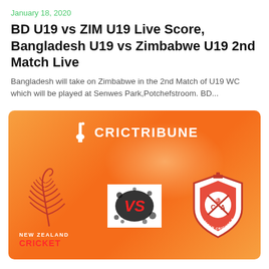January 18, 2020
BD U19 vs ZIM U19 Live Score, Bangladesh U19 vs Zimbabwe U19 2nd Match Live
Bangladesh will take on Zimbabwe in the 2nd Match of U19 WC which will be played at Senwes Park,Potchefstroom. BD...
[Figure (illustration): CricTribune branded banner with orange gradient background showing New Zealand Cricket fern logo on the left, a VS graphic in the center, and Japan Cricket Association (JCA) shield logo on the right. CricTribune logo with cricket bat icon is displayed at the top center.]